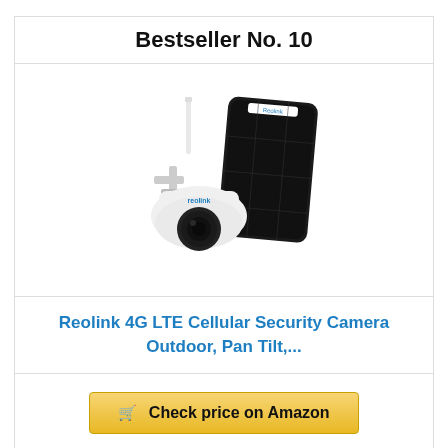Bestseller No. 10
[Figure (photo): Reolink 4G LTE cellular security camera with pan-tilt dome and solar panel]
Reolink 4G LTE Cellular Security Camera Outdoor, Pan Tilt,...
Check price on Amazon